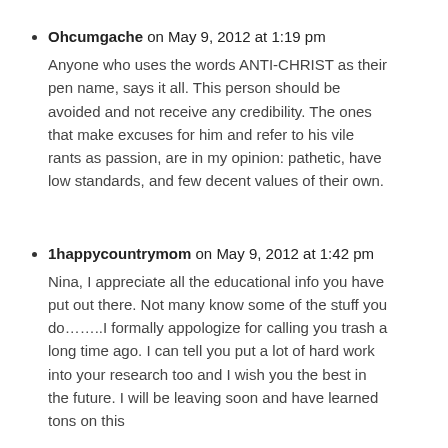Ohcumgache on May 9, 2012 at 1:19 pm
Anyone who uses the words ANTI-CHRIST as their pen name, says it all. This person should be avoided and not receive any credibility. The ones that make excuses for him and refer to his vile rants as passion, are in my opinion: pathetic, have low standards, and few decent values of their own.
1happycountrymom on May 9, 2012 at 1:42 pm
Nina, I appreciate all the educational info you have put out there. Not many know some of the stuff you do…….I formally appologize for calling you trash a long time ago. I can tell you put a lot of hard work into your research too and I wish you the best in the future. I will be leaving soon and have learned tons on this